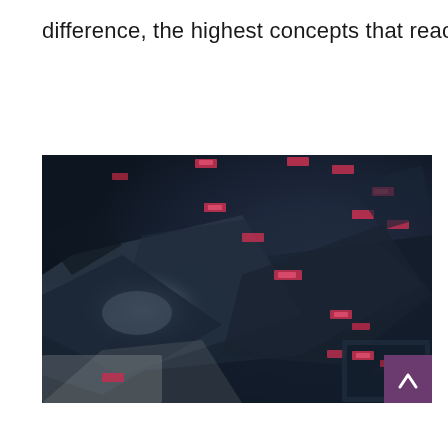difference, the highest concepts that reached …
[Figure (photo): Dark overhead view of a futuristic or sci-fi scene showing spacecraft or vehicles with glowing red displays/indicators scattered across the image. The scene is dark with some illuminated panels and a bright light source visible. A purple scroll-up button with a caret/chevron is visible in the bottom-right corner.]